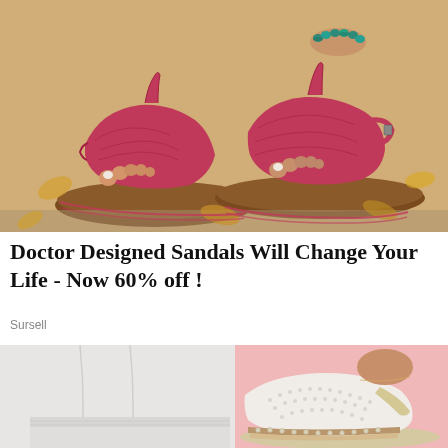[Figure (photo): Close-up photo of a woman's feet wearing red/pink thong-style sandals with a platform sole, outdoors on a stone surface with autumn leaves. She has a teal/green beaded anklet on her right ankle.]
Doctor Designed Sandals Will Change Your Life - Now 60% off !
Sursell
[Figure (photo): Photo of a woman wearing white pants and white slip-on shoes with a platform sole featuring studded detailing and brown/tan stripe accents. Shot against a pink background.]